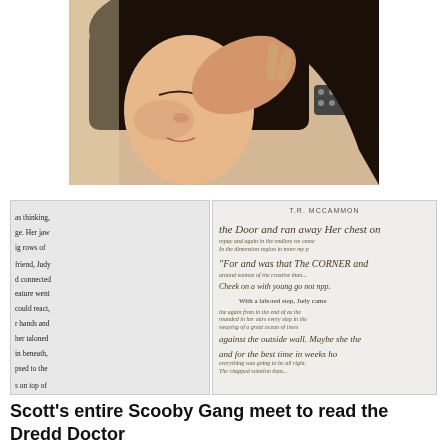[Figure (photo): A young Asian woman with eyes closed, holding something near her nose, wearing a studded bracelet, photographed close-up.]
[Figure (photo): Two open book pages side by side. Left page shows partial novel text. Right page shows handwritten script-style text with byline T.R. MCCAMMON at top.]
Scott's entire Scooby Gang meet to read the Dredd Doctor
book together while being re-enforcement on the...